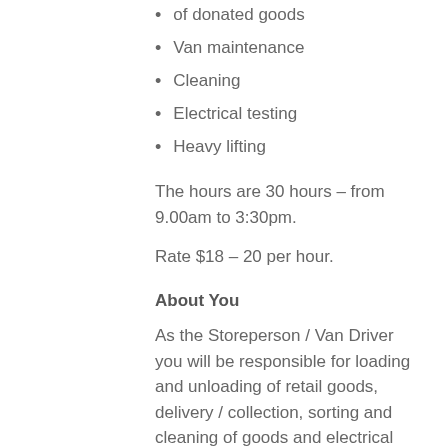of donated goods
Van maintenance
Cleaning
Electrical testing
Heavy lifting
The hours are 30 hours – from 9.00am to 3:30pm.
Rate $18 – 20 per hour.
About You
As the Storeperson / Van Driver you will be responsible for loading and unloading of retail goods, delivery / collection, sorting and cleaning of goods and electrical testing.
You will have a great sense of